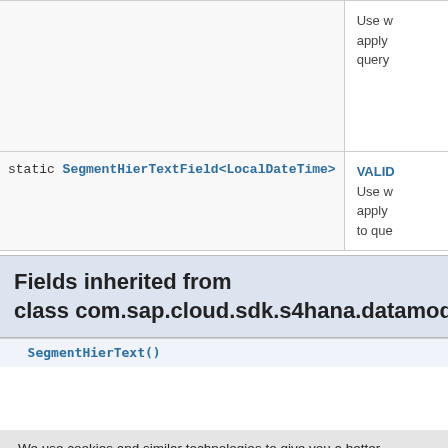| Modifier and Type | Field | Description |
| --- | --- | --- |
| static SegmentHierTextField<LocalDateTime> | VALID... | Use w apply query |
| static SegmentHierTextField<LocalDateTime> | VALID... | Use w apply to que |
Fields inherited from class com.sap.cloud.sdk.s4hana.datamodel.o...
We use cookies and similar technologies to give you a better experience, improve performance, analyze traffic, and to personalize content. By continuing to browse this website you agree to the use of cookies. For more information on how this website uses cookies, please select "Privacy Policy." To opt-out of cookies, please select "More Information."
Accept Cookies
More Information
Privacy Policy | Powered by: TrustArc
SegmentHierText()